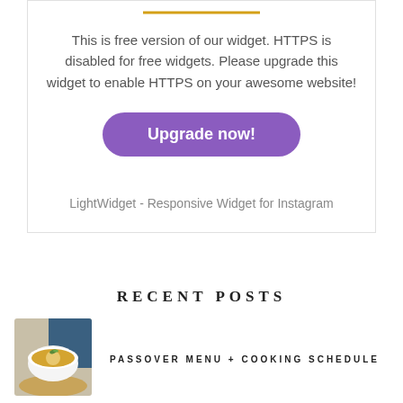[Figure (other): Gold horizontal decorative line at top of widget box]
This is free version of our widget. HTTPS is disabled for free widgets. Please upgrade this widget to enable HTTPS on your awesome website!
[Figure (other): Purple rounded button with white bold text reading 'Upgrade now!']
LightWidget - Responsive Widget for Instagram
RECENT POSTS
[Figure (photo): Photo of a bowl of soup (matzah ball soup) in a white bowl on a woven mat with blue cloth background]
PASSOVER MENU + COOKING SCHEDULE